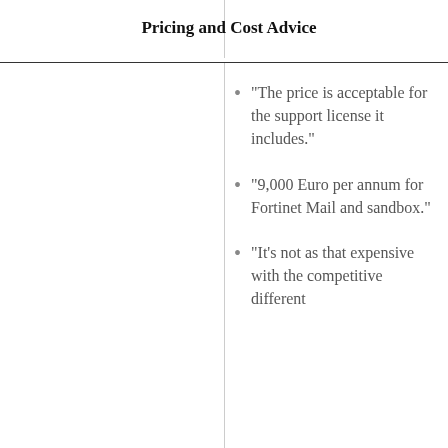Pricing and Cost Advice
"The price is acceptable for the support license it includes."
"9,000 Euro per annum for Fortinet Mail and sandbox."
"It's not as that expensive with the competitive different